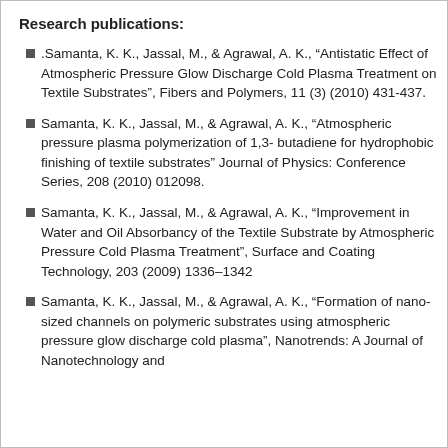Research publications:
.Samanta, K. K., Jassal, M., & Agrawal, A. K., “Antistatic Effect of Atmospheric Pressure Glow Discharge Cold Plasma Treatment on Textile Substrates”, Fibers and Polymers, 11 (3) (2010) 431-437.
Samanta, K. K., Jassal, M., & Agrawal, A. K., “Atmospheric pressure plasma polymerization of 1,3- butadiene for hydrophobic finishing of textile substrates” Journal of Physics: Conference Series, 208 (2010) 012098.
Samanta, K. K., Jassal, M., & Agrawal, A. K., “Improvement in Water and Oil Absorbancy of the Textile Substrate by Atmospheric Pressure Cold Plasma Treatment”, Surface and Coating Technology, 203 (2009) 1336–1342
Samanta, K. K., Jassal, M., & Agrawal, A. K., “Formation of nano-sized channels on polymeric substrates using atmospheric pressure glow discharge cold plasma”, Nanotrends: A Journal of Nanotechnology and